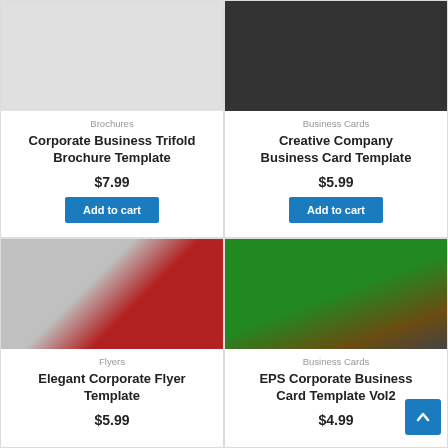[Figure (photo): Corporate Business Trifold Brochure Template product image (top, clipped)]
Brochures
Corporate Business Trifold Brochure Template
$7.99
Add to cart
[Figure (photo): Creative Company Business Card Template product image (top, clipped)]
Business Cards
Creative Company Business Card Template
$5.99
Add to cart
[Figure (photo): Elegant Corporate Flyer Template - red and dark cover flyer mockup]
Flyers
Elegant Corporate Flyer Template
$5.99
[Figure (photo): EPS Corporate Business Card Template Vol2 - green and gold business cards on wooden surface]
Business Cards
EPS Corporate Business Card Template Vol2
$4.99